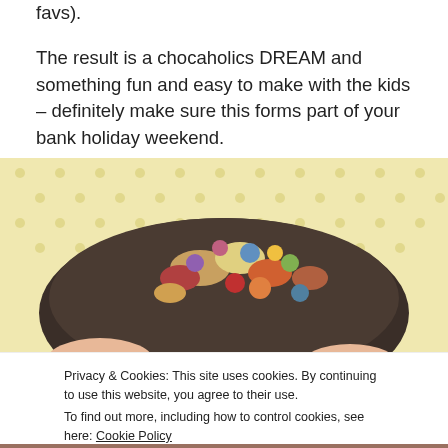favs).

The result is a chocaholics DREAM and something fun and easy to make with the kids – definitely make sure this forms part of your bank holiday weekend.
[Figure (photo): Overhead photo of a dark bowl filled with colorful chocolates and candies on a yellow polka dot background, partially visible at bottom with a chocolate treat image.]
Privacy & Cookies: This site uses cookies. By continuing to use this website, you agree to their use.
To find out more, including how to control cookies, see here: Cookie Policy